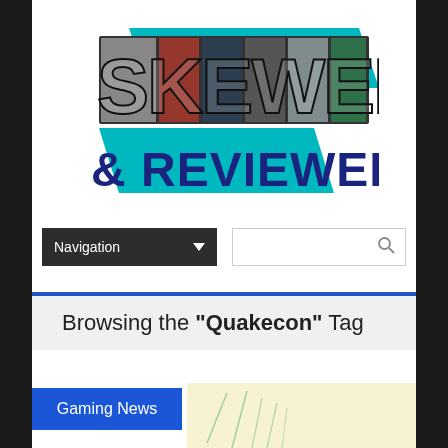[Figure (logo): Skewed and Reviewed logo with teal parallelogram shapes and collage of gaming/tech images forming the letters SKEWED, with '& REVIEWED' in dark blue below]
Navigation
Search box with magnifying glass icon
Browsing the "Quakecon" Tag
Gaming News